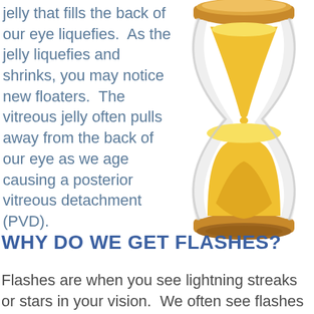jelly that fills the back of our eye liquefies.  As the jelly liquefies and shrinks, you may notice new floaters.  The vitreous jelly often pulls away from the back of our eye as we age causing a posterior vitreous detachment (PVD).
[Figure (illustration): An hourglass illustration with a brown/orange frame and yellow sand, showing sand in both the top and bottom chambers with some flowing through the narrow middle.]
WHY DO WE GET FLASHES?
Flashes are when you see lightning streaks or stars in your vision.  We often see flashes when